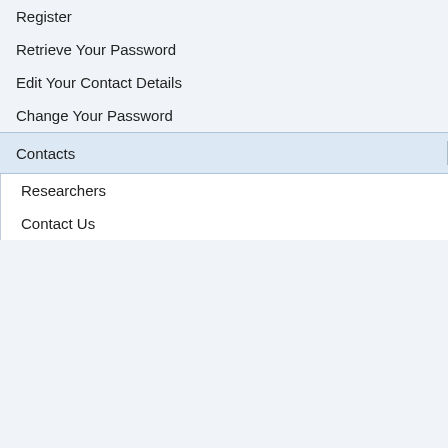Register
Retrieve Your Password
Edit Your Contact Details
Change Your Password
Contacts
Researchers
Contact Us
| Field | Value |
| --- | --- |
| Year | 2011 |
| Situation(s) | Cotto... |
| Contributors - (Alphabetically) | Dalla... |
Edit
Confirmation T...
Greenhouse trials comparing a know... Amaranth biotype with this Palmer A... been used to confirm resistance. Fo... the tests conducted please contact t... that provided this information.
Mechanism of Res...
The mechanism of resistance for thi...